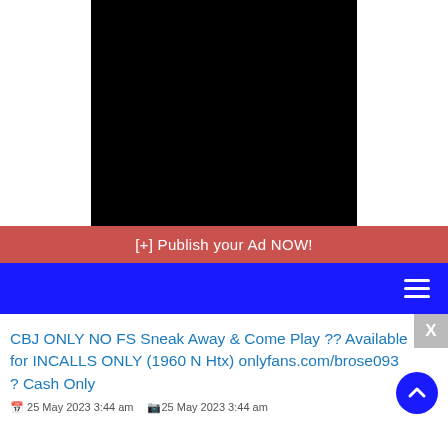[Figure (photo): Black rectangle image placeholder centered on white background]
[+] Publish your Ad NOW!
[Figure (screenshot): Blue navigation bar with hamburger menu icon on the right]
CBJ ONLY NO FS Sneak Away & Come Play ?? Available for INCALLS ONLY (1960 N Htx) onlyfans.com/brose093 ? Cash Only
25 May 2023 3:44 am   25 May 2023 3:44 am